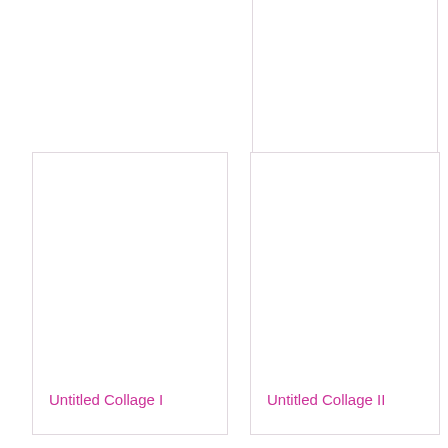[Figure (other): Card with label 'Ripple' in pink text, partial card visible at top right]
[Figure (other): Card with label 'Untitled Collage I' in pink text]
[Figure (other): Card with label 'Untitled Collage II' in pink text]